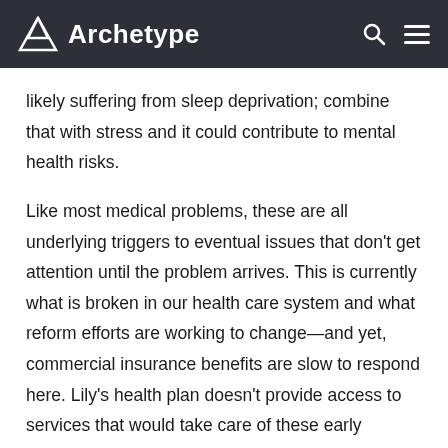Archetype
likely suffering from sleep deprivation; combine that with stress and it could contribute to mental health risks.
Like most medical problems, these are all underlying triggers to eventual issues that don't get attention until the problem arrives. This is currently what is broken in our health care system and what reform efforts are working to change—and yet, commercial insurance benefits are slow to respond here. Lily's health plan doesn't provide access to services that would take care of these early triggers and her doctor isn't equipped with tools to address them either.